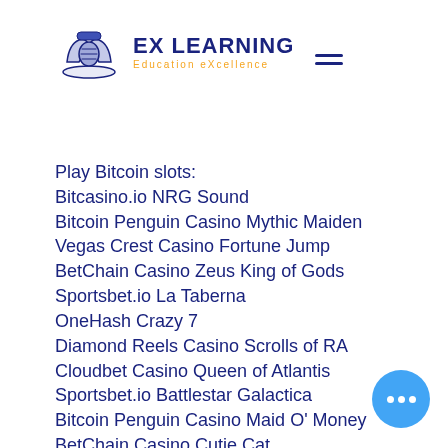[Figure (logo): EX LEARNING logo with hands shaking icon, text 'EX LEARNING' in dark navy and 'Education eXcellence' in orange]
Play Bitcoin slots:
Bitcasino.io NRG Sound
Bitcoin Penguin Casino Mythic Maiden
Vegas Crest Casino Fortune Jump
BetChain Casino Zeus King of Gods
Sportsbet.io La Taberna
OneHash Crazy 7
Diamond Reels Casino Scrolls of RA
Cloudbet Casino Queen of Atlantis
Sportsbet.io Battlestar Galactica
Bitcoin Penguin Casino Maid O' Money
BetChain Casino Cutie Cat
22Bet Casino Fei Long Zai Tian
Bspin.io Casino Sahara´s Dreams